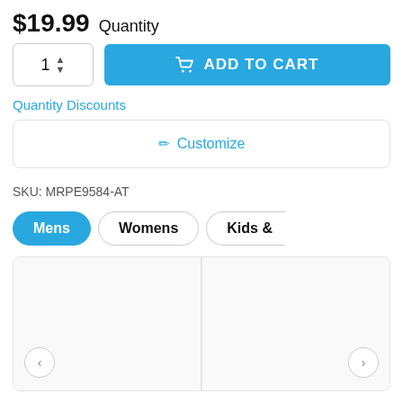$19.99 Quantity
[Figure (screenshot): Quantity input box with value 1 and up/down arrows, and a blue ADD TO CART button with shopping cart icon]
Quantity Discounts
[Figure (screenshot): Customize button with pencil icon in a bordered box]
SKU: MRPE9584-AT
[Figure (screenshot): Tab navigation with three tabs: Mens (active/blue), Womens, Kids &]
[Figure (screenshot): Product image area with two panels side by side and left/right navigation arrows]